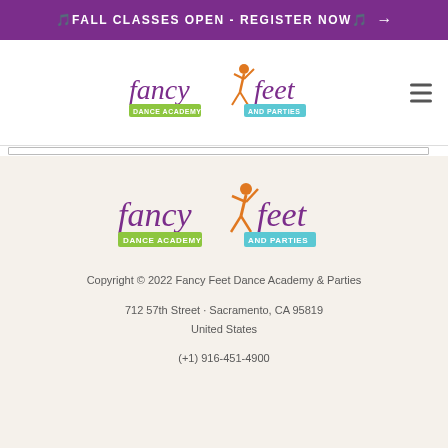🎵FALL CLASSES OPEN - REGISTER NOW🎵 →
[Figure (logo): Fancy Feet Dance Academy and Parties logo - header version]
[Figure (logo): Fancy Feet Dance Academy and Parties logo - footer version]
Copyright © 2022 Fancy Feet Dance Academy & Parties
712 57th Street · Sacramento, CA 95819
United States
(+1) 916-451-4900